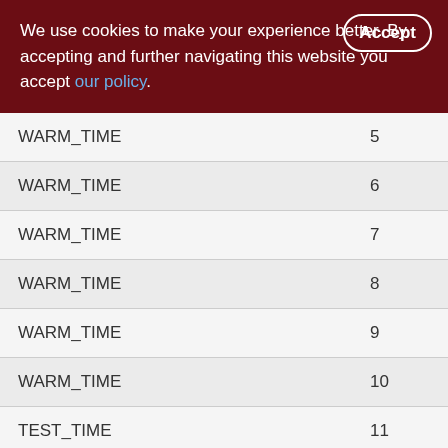We use cookies to make your experience better. By accepting and further navigating this website you accept our policy.
| WARM_TIME | 5 |
| WARM_TIME | 6 |
| WARM_TIME | 7 |
| WARM_TIME | 8 |
| WARM_TIME | 9 |
| WARM_TIME | 10 |
| TEST_TIME | 11 |
| TEST_TIME | 12 |
| TEST_TIME | 13 |